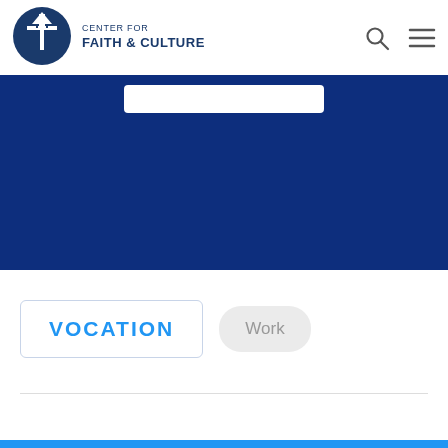[Figure (logo): Center for Faith & Culture circular logo with cross and building icon in blue and white]
CENTER FOR FAITH & CULTURE
[Figure (screenshot): Dark blue banner section with white search bar overlay]
VOCATION
Work